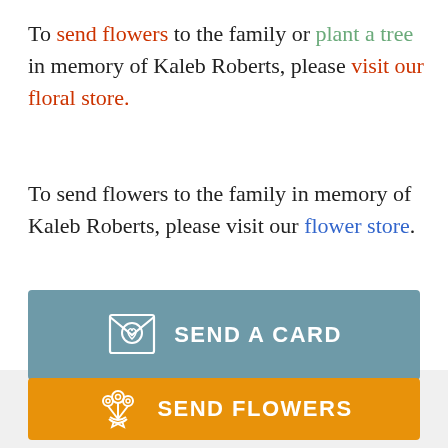To send flowers to the family or plant a tree in memory of Kaleb Roberts, please visit our floral store.
To send flowers to the family in memory of Kaleb Roberts, please visit our flower store.
[Figure (other): Teal/blue-grey button with greeting card icon and text SEND A CARD]
[Figure (other): Orange button with flower bouquet icon and text SEND FLOWERS]